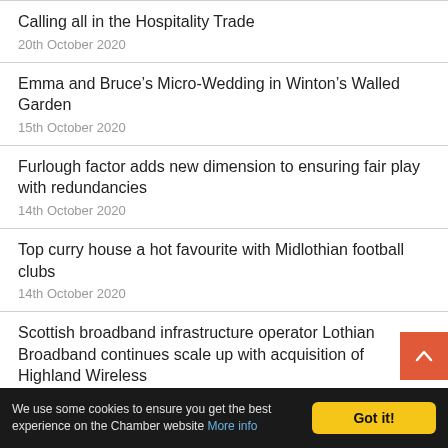Calling all in the Hospitality Trade
20th October 2020
Emma and Bruce’s Micro-Wedding in Winton’s Walled Garden
15th October 2020
Furlough factor adds new dimension to ensuring fair play with redundancies
14th October 2020
Top curry house a hot favourite with Midlothian football clubs
14th October 2020
Scottish broadband infrastructure operator Lothian Broadband continues scale up with acquisition of Highland Wireless
We use some cookies to ensure you get the best experience on the Chamber website More info